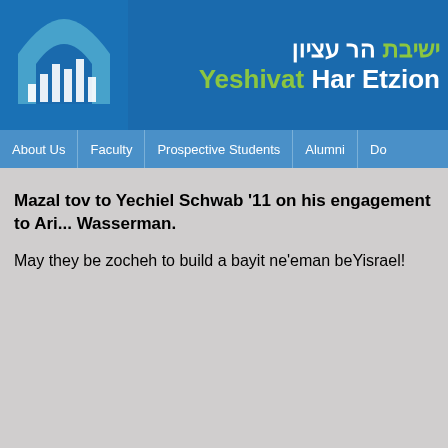[Figure (logo): Yeshivat Har Etzion logo with building silhouette and bar chart icon on blue background with Hebrew and English text]
Yeshivat Har Etzion — navigation: About Us | Faculty | Prospective Students | Alumni | Do...
Mazal tov to Yechiel Schwab '11 on his engagement to Ari... Wasserman.
May they be zocheh to build a bayit ne'eman beYisrael!